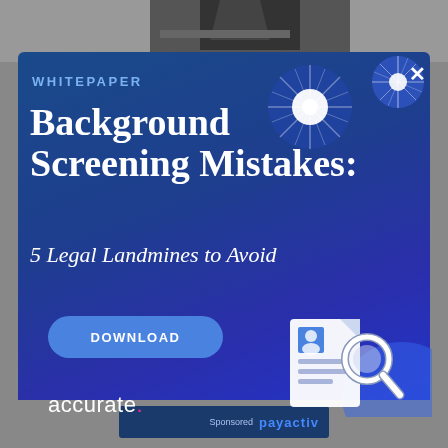[Figure (screenshot): Dark photo of an aircraft tail visible at top of page]
WHITEPAPER
Background Screening Mistakes: 5 Legal Landmines to Avoid
[Figure (illustration): Decorative starburst/snowflake shapes in upper right of blue panel]
[Figure (illustration): Document with magnifying glass icon in lower right of blue panel]
DOWNLOAD
accurate.
payactiv